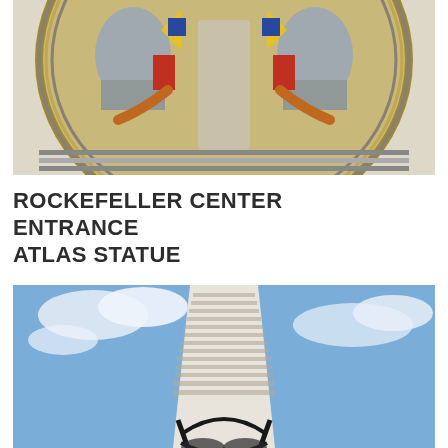[Figure (photo): Close-up photograph of a colorful Art Deco mosaic or relief at Rockefeller Center entrance, showing two symmetrical figures in a circular composition with geometric patterns, blue, yellow, red, and orange colors on a beige/cream background]
ROCKEFELLER CENTER ENTRANCE ATLAS STATUE
[Figure (photo): Low-angle photograph looking up at 30 Rockefeller Plaza skyscraper against a blue sky with clouds, with the Atlas statue sphere and armillary rings visible in the foreground lower portion of the image]